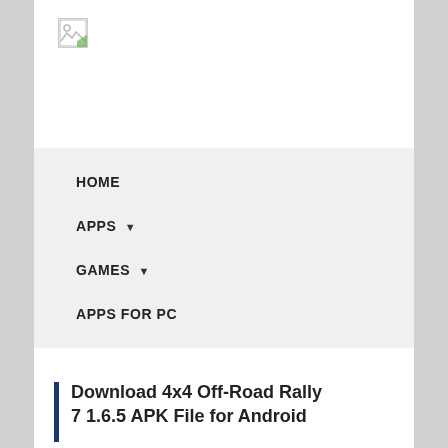[Figure (logo): Broken image placeholder icon in top left corner of the page]
HOME
APPS ▾
GAMES ▾
APPS FOR PC
Download 4x4 Off-Road Rally 7 1.6.5 APK File for Android